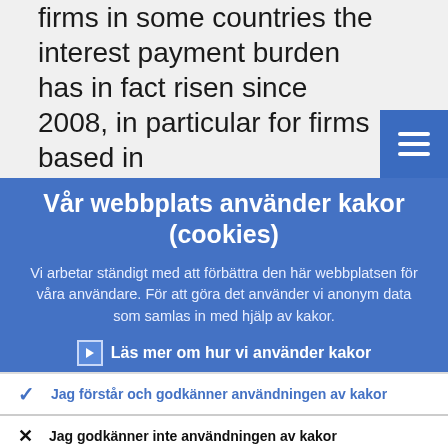firms in some countries the interest payment burden has in fact risen since 2008, in particular for firms based in
Vår webbplats använder kakor (cookies)
Vi arbetar ständigt med att förbättra den här webbplatsen för våra användare. För att göra det använder vi anonym data som samlas in med hjälp av kakor.
Läs mer om hur vi använder kakor
Jag förstår och godkänner användningen av kakor
Jag godkänner inte användningen av kakor